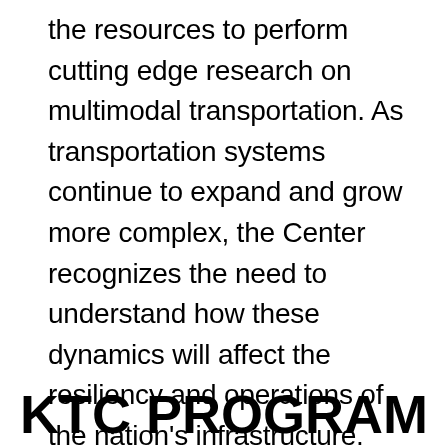the resources to perform cutting edge research on multimodal transportation. As transportation systems continue to expand and grow more complex, the Center recognizes the need to understand how these dynamics will affect the resiliency and operations of the nation's infrastructure.
KTC PROGRAM